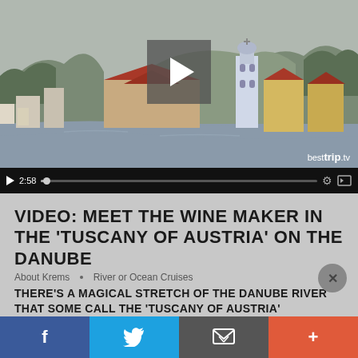[Figure (screenshot): Video player showing a scenic view of a European riverside town (Dürnstein, Austria) with mountains, red-roofed buildings, and a blue baroque church tower. Overlaid with a semi-transparent play button. Video controls bar at bottom showing 2:58 timestamp. Watermark reads 'besttrip.tv'.]
VIDEO: MEET THE WINE MAKER IN THE 'TUSCANY OF AUSTRIA' ON THE DANUBE
About Krems  •  River or Ocean Cruises
THERE'S A MAGICAL STRETCH OF THE DANUBE RIVER THAT SOME CALL THE 'TUSCANY OF AUSTRIA'